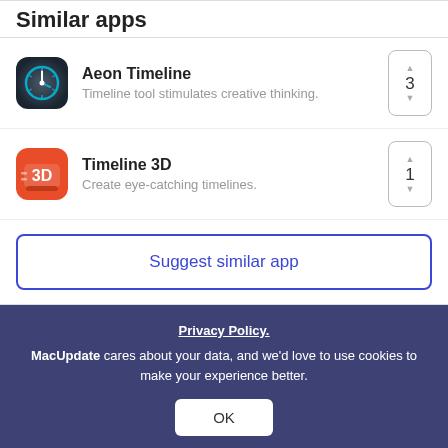Similar apps
Aeon Timeline — Timeline tool stimulates creative thinking. Vote: 3
Timeline 3D — Create eye-catching timelines. Vote: 1
Suggest similar app
New and Recently Updated
Slomo — Produce slow motion video clips.
Privacy Policy. MacUpdate cares about your data, and we'd love to use cookies to make your experience better. OK